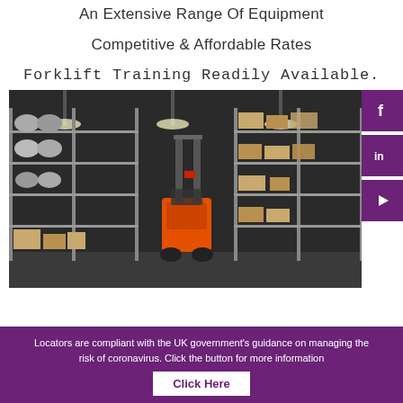An Extensive Range Of Equipment
Competitive & Affordable Rates
Forklift Training Readily Available.
[Figure (photo): A warehouse interior with tall shelving racks holding industrial parts and boxes, and an orange forklift/reach truck in the aisle]
[Figure (logo): Social media icons: Facebook, LinkedIn, YouTube in purple squares]
Locators are compliant with the UK government's guidance on managing the risk of coronavirus. Click the button for more information
Click Here